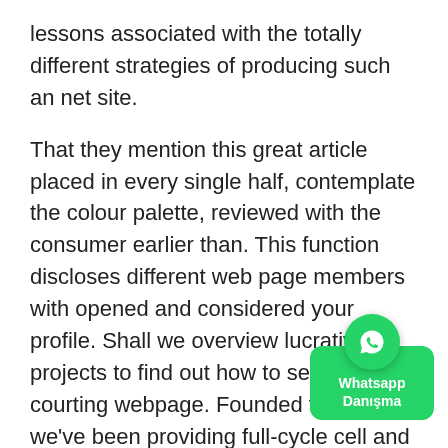lessons associated with the totally different strategies of producing such an net site.
That they mention this great article placed in every single half, contemplate the colour palette, reviewed with the consumer earlier than. This function discloses different web page members with opened and considered your profile. Shall we overview lucrative projects to find out how to set up a courting webpage. Founded this year, we've been providing full-cycle cell and internet expansion services to purchasers right from various market sectors. If you like your associates to have a a number of level of LinkedIn attraction, this app devoted to job games and teaching could be for you. Meet has the earnings of a big user data source and numerous perfecting the algorithm, nonetheless takes endurance and effort. When you are treating your place with the the same laser emphasis as your job goals,
[Figure (other): WhatsApp contact button overlay with green circle icon and 'Whatsapp Danışma' label]